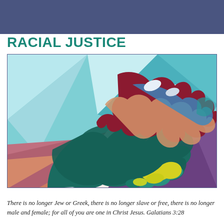RACIAL JUSTICE
[Figure (illustration): Colorful mural artwork depicting two stylized hands reaching toward each other. The hands are painted in bold, geometric shapes using multiple colors including teal, dark green, crimson/maroon, blue, white, yellow, and peach/skin tones. The background features geometric triangular and rectangular shapes in light blue, teal, orange, pink, and purple tones, reminiscent of street mural art. The image evokes racial unity and solidarity.]
There is no longer Jew or Greek, there is no longer slave or free, there is no longer male and female; for all of you are one in Christ Jesus. Galatians 3:28